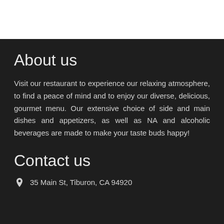About us
Visit our restaurant to experience our relaxing atmosphere, to find a peace of mind and to enjoy our diverse, delicious, gourmet menu. Our extensive choice of side and main dishes and appetizers, as well as NA and alcoholic beverages are made to make your taste buds happy!
Contact us
35 Main St, Tiburon, CA 94920